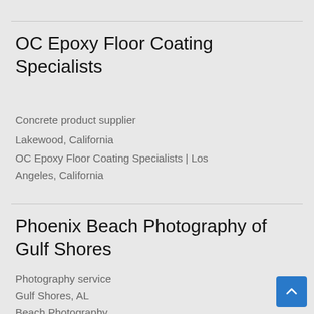OC Epoxy Floor Coating Specialists
Concrete product supplier
Lakewood, California
OC Epoxy Floor Coating Specialists | Los Angeles, California
Phoenix Beach Photography of Gulf Shores
Photography service
Gulf Shores, AL
Beach Photography